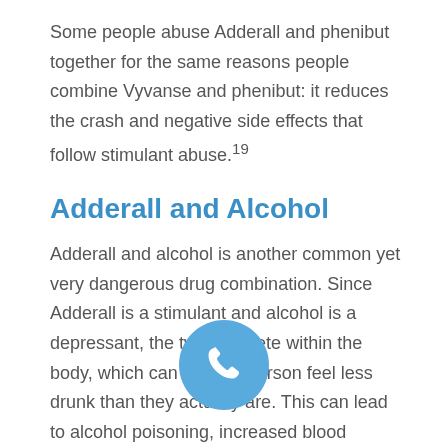Some people abuse Adderall and phenibut together for the same reasons people combine Vyvanse and phenibut: it reduces the crash and negative side effects that follow stimulant abuse.19
Adderall and Alcohol
Adderall and alcohol is another common yet very dangerous drug combination. Since Adderall is a stimulant and alcohol is a depressant, the two compete within the body, which can make a person feel less drunk than they actually are. This can lead to alcohol poisoning, increased blood pressure, heartbeat, and risky behaviors.
[Figure (other): Blue circular phone/call button icon]